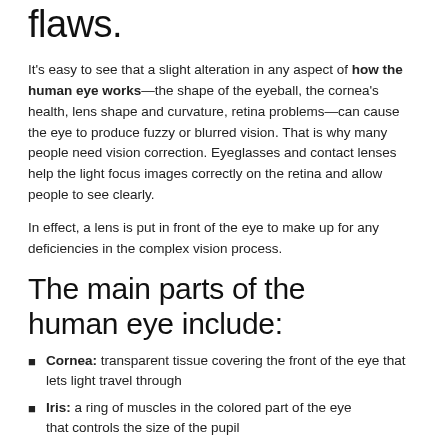flaws.
It's easy to see that a slight alteration in any aspect of how the human eye works—the shape of the eyeball, the cornea's health, lens shape and curvature, retina problems—can cause the eye to produce fuzzy or blurred vision. That is why many people need vision correction. Eyeglasses and contact lenses help the light focus images correctly on the retina and allow people to see clearly.
In effect, a lens is put in front of the eye to make up for any deficiencies in the complex vision process.
The main parts of the human eye include:
Cornea: transparent tissue covering the front of the eye that lets light travel through
Iris: a ring of muscles in the colored part of the eye that controls the size of the pupil